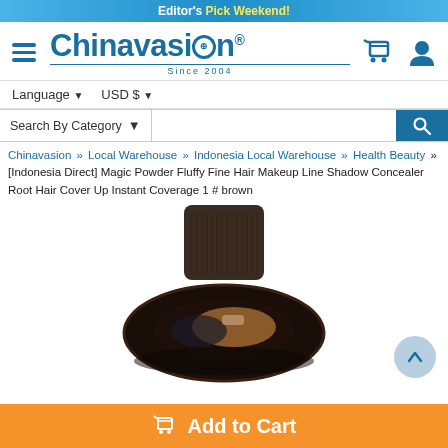Editor's Pick Weekend!
[Figure (logo): Chinavasion logo with hamburger menu icon, cart icon, and user icon]
Language ▼   USD $ ▼
Search By Category ▼ [search bar with magnifying glass]
Chinavasion » Local Warehouse » Indonesia Local Warehouse » Health Beauty » [Indonesia Direct] Magic Powder Fluffy Fine Hair Makeup Line Shadow Concealer Root Hair Cover Up Instant Coverage 1 # brown
[Figure (photo): Product photo of a dark brown hair powder compact with comb applicator, circular container with brown powder inside]
Add to Cart